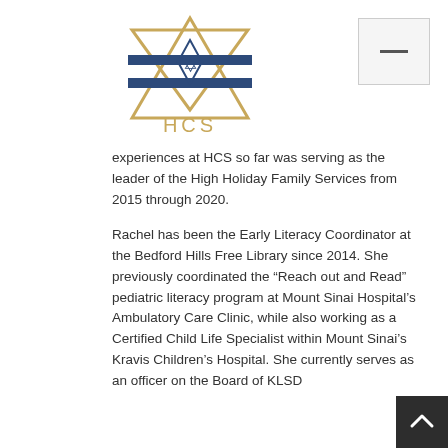[Figure (logo): HCS (Hebrew Community Services) logo — Star of David in navy blue and gold/tan with 'HCS' text below in gold]
experiences at HCS so far was serving as the leader of the High Holiday Family Services from 2015 through 2020.
Rachel has been the Early Literacy Coordinator at the Bedford Hills Free Library since 2014. She previously coordinated the “Reach out and Read” pediatric literacy program at Mount Sinai Hospital’s Ambulatory Care Clinic, while also working as a Certified Child Life Specialist within Mount Sinai’s Kravis Children’s Hospital. She currently serves as an officer on the Board of KLSD